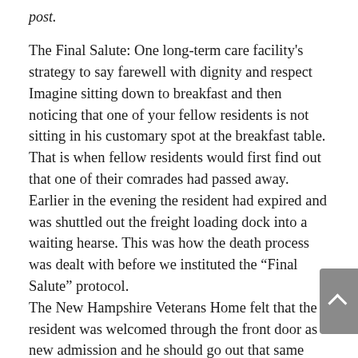post.
The Final Salute: One long-term care facility's strategy to say farewell with dignity and respect
Imagine sitting down to breakfast and then noticing that one of your fellow residents is not sitting in his customary spot at the breakfast table. That is when fellow residents would first find out that one of their comrades had passed away. Earlier in the evening the resident had expired and was shuttled out the freight loading dock into a waiting hearse. This was how the death process was dealt with before we instituted the “Final Salute” protocol.
The New Hampshire Veterans Home felt that the resident was welcomed through the front door as a new admission and he should go out that same front door on his final departure. We then worked on coming up with a